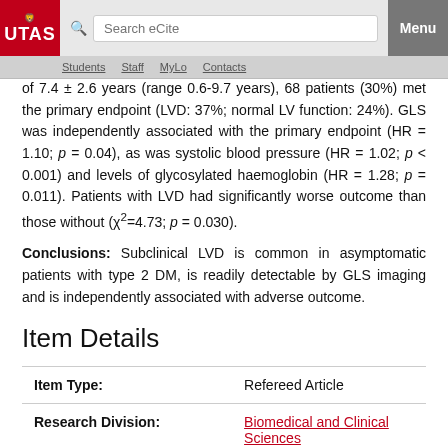UTAS | Search eCite | Menu | Students | Staff | MyLo | Contacts
of 7.4 ± 2.6 years (range 0.6-9.7 years), 68 patients (30%) met the primary endpoint (LVD: 37%; normal LV function: 24%). GLS was independently associated with the primary endpoint (HR = 1.10; p = 0.04), as was systolic blood pressure (HR = 1.02; p < 0.001) and levels of glycosylated haemoglobin (HR = 1.28; p = 0.011). Patients with LVD had significantly worse outcome than those without (χ²=4.73; p = 0.030).
Conclusions: Subclinical LVD is common in asymptomatic patients with type 2 DM, is readily detectable by GLS imaging and is independently associated with adverse outcome.
Item Details
| Item Type: | Research Division: |
| --- | --- |
| Item Type: | Refereed Article |
| Research Division: | Biomedical and Clinical Sciences |